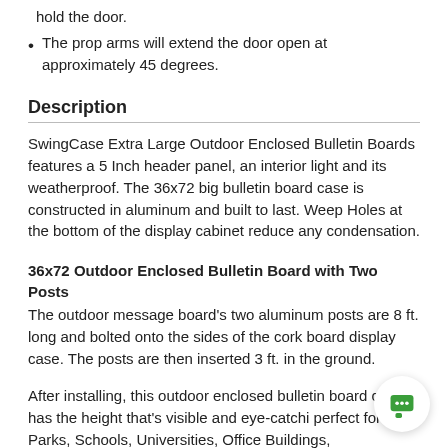hold the door.
The prop arms will extend the door open at approximately 45 degrees.
Description
SwingCase Extra Large Outdoor Enclosed Bulletin Boards features a 5 Inch header panel, an interior light and its weatherproof. The 36x72 big bulletin board case is constructed in aluminum and built to last. Weep Holes at the bottom of the display cabinet reduce any condensation.
36x72 Outdoor Enclosed Bulletin Board with Two Posts
The outdoor message board's two aluminum posts are 8 ft. long and bolted onto the sides of the cork board display case. The posts are then inserted 3 ft. in the ground.
After installing, this outdoor enclosed bulletin board cabinet has the height that's visible and eye-catching, perfect for Parks, Schools, Universities, Office Buildings,